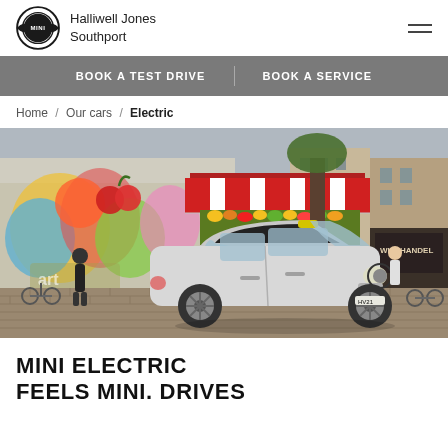Halliwell Jones Southport
BOOK A TEST DRIVE | BOOK A SERVICE
Home / Our cars / Electric
[Figure (photo): A white MINI Electric parked on a city street with colorful graffiti on the wall, a fruit market stall with red and white striped awning, a WIJNHANDEL shop, parked bicycles and motorcycles, and a person walking in the background.]
MINI ELECTRIC
FEELS MINI. DRIVES
Electric